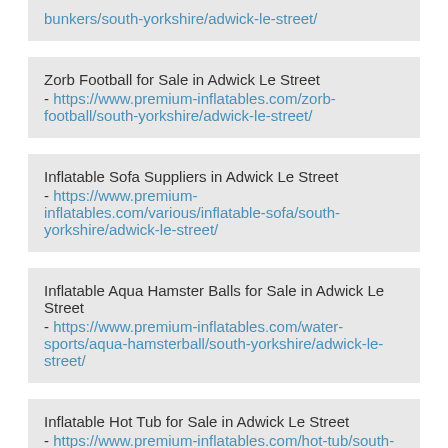bunkers/south-yorkshire/adwick-le-street/ (partial, top of page)
Zorb Football for Sale in Adwick Le Street - https://www.premium-inflatables.com/zorb-football/south-yorkshire/adwick-le-street/
Inflatable Sofa Suppliers in Adwick Le Street - https://www.premium-inflatables.com/various/inflatable-sofa/south-yorkshire/adwick-le-street/
Inflatable Aqua Hamster Balls for Sale in Adwick Le Street - https://www.premium-inflatables.com/water-sports/aqua-hamsterball/south-yorkshire/adwick-le-street/
Inflatable Hot Tub for Sale in Adwick Le Street - https://www.premium-inflatables.com/hot-tub/south-yorkshire/adwick-le-street/
Subnerd Sports Air Trampolin in Adwick Le Street (partial, bottom of page)